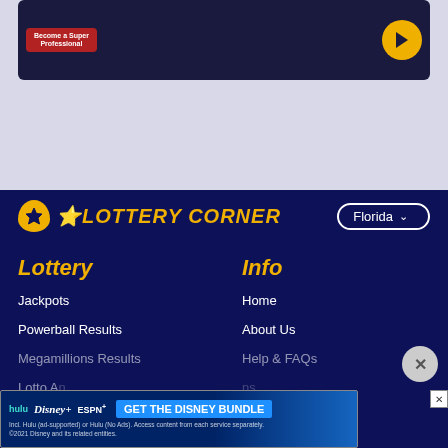[Figure (screenshot): Top advertisement banner on dark navy background with red logo and yellow circle arrow button, on lavender background]
[Figure (logo): Lottery Corner logo with yellow star shield icon and italic bold text, alongside Florida state dropdown selector]
Lottery
Info
Jackpots
Home
Powerball Results
About Us
Megamillions Results
Help & FAQs
Lotto A...
...ns
Taxes on lotteries
Privacy policy
[Figure (screenshot): Disney Bundle advertisement banner: hulu, Disney+, ESPN+ logos with GET THE DISNEY BUNDLE CTA button and fine print]